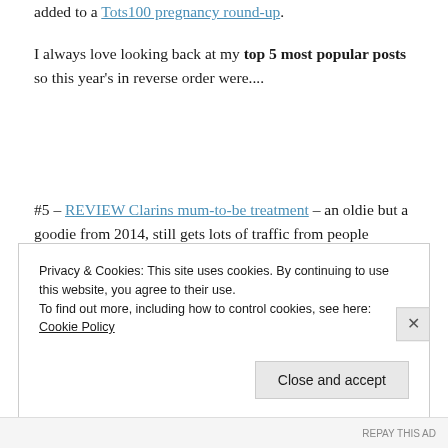added to a Tots100 pregnancy round-up.
I always love looking back at my top 5 most popular posts so this year's in reverse order were....
#5 – REVIEW Clarins mum-to-be treatment – an oldie but a goodie from 2014, still gets lots of traffic from people googling this
Privacy & Cookies: This site uses cookies. By continuing to use this website, you agree to their use.
To find out more, including how to control cookies, see here:
Cookie Policy
Close and accept